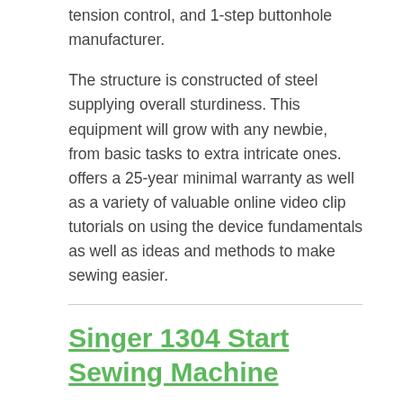tension control, and 1-step buttonhole manufacturer.
The structure is constructed of steel supplying overall sturdiness. This equipment will grow with any newbie, from basic tasks to extra intricate ones. offers a 25-year minimal warranty as well as a variety of valuable online video clip tutorials on using the device fundamentals as well as ideas and methods to make sewing easier.
Singer 1304 Start Sewing Machine
…offers the 1304…